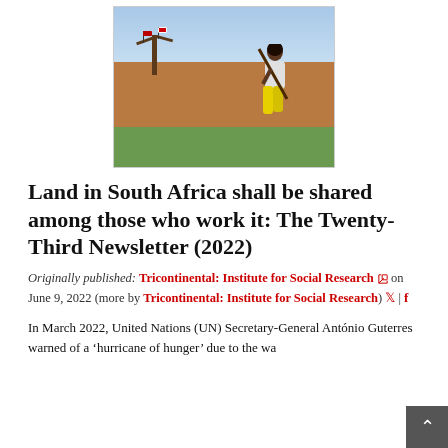[Figure (photo): A woman carrying a long-handled tool over her shoulder walks through a field with a baobab tree in the background bearing small red flags. The landscape is dry and open under a blue sky.]
Land in South Africa shall be shared among those who work it: The Twenty-Third Newsletter (2022)
Originally published: Tricontinental: Institute for Social Research on June 9, 2022 (more by Tricontinental: Institute for Social Research)
In March 2022, United Nations (UN) Secretary-General António Guterres warned of a 'hurricane of hunger' due to the wa